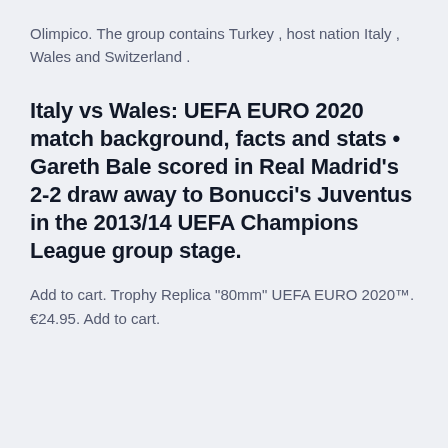Olimpico. The group contains Turkey , host nation Italy , Wales and Switzerland .
Italy vs Wales: UEFA EURO 2020 match background, facts and stats • Gareth Bale scored in Real Madrid's 2-2 draw away to Bonucci's Juventus in the 2013/14 UEFA Champions League group stage.
Add to cart. Trophy Replica "80mm" UEFA EURO 2020™. €24.95. Add to cart.